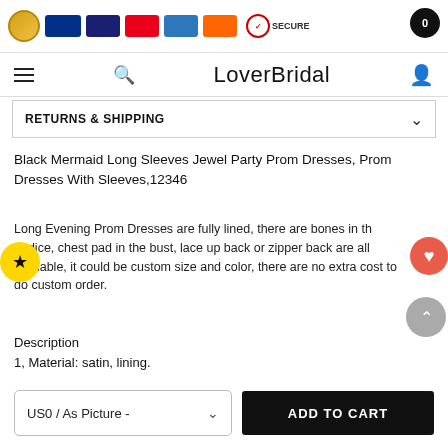Payment icons: Guarantee, PayPal, Visa, Mastercard, Amex, Discover, Norton SECURE | Cart: 0
LoverBridal
RETURNS & SHIPPING
Black Mermaid Long Sleeves Jewel Party Prom Dresses, Prom Dresses With Sleeves,12346
Long Evening Prom Dresses are fully lined, there are bones in the bodice, chest pad in the bust, lace up back or zipper back are all available, it could be custom size and color, there are no extra cost to do custom order.
Description
1, Material: satin, lining.
US0 / As Picture -
ADD TO CART